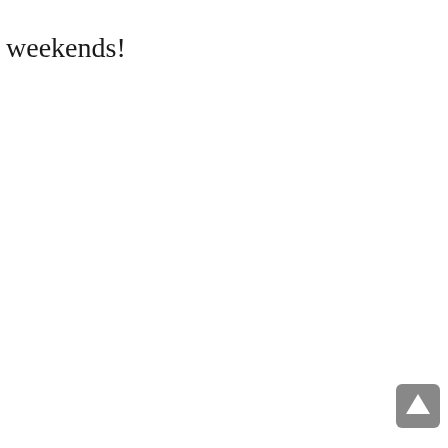weekends!
[Figure (other): Scroll-to-top button with upward triangle arrow icon, gray rounded rectangle, positioned at bottom right corner]